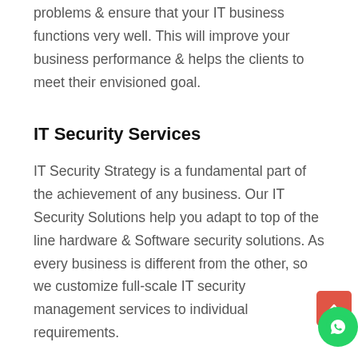problems & ensure that your IT business functions very well. This will improve your business performance & helps the clients to meet their envisioned goal.
IT Security Services
IT Security Strategy is a fundamental part of the achievement of any business. Our IT Security Solutions help you adapt to top of the line hardware & Software security solutions. As every business is different from the other, so we customize full-scale IT security management services to individual requirements.
Our Best IT Disaster Recovery Plan covers from internal data security to full data backup solution. We keep